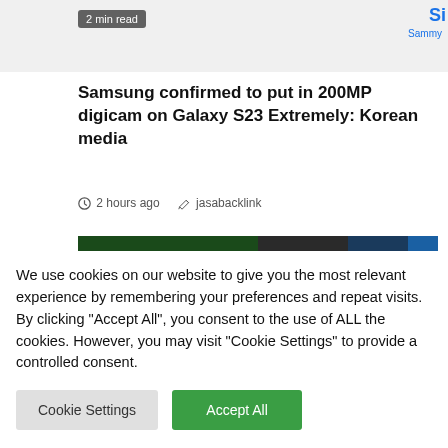[Figure (screenshot): Top strip with '2 min read' badge on dark background and partial Samsung phone image, with 'Si' Sammy logo top right]
Samsung confirmed to put in 200MP digicam on Galaxy S23 Extremely: Korean media
2 hours ago  jasabacklink
[Figure (photo): PlayStation Plus banner image showing the yellow PlayStation Plus logo with triangle, circle, cross, square symbols and white text 'PlayStation Plus', alongside armored game character on right side]
We use cookies on our website to give you the most relevant experience by remembering your preferences and repeat visits. By clicking "Accept All", you consent to the use of ALL the cookies. However, you may visit "Cookie Settings" to provide a controlled consent.
Cookie Settings  Accept All